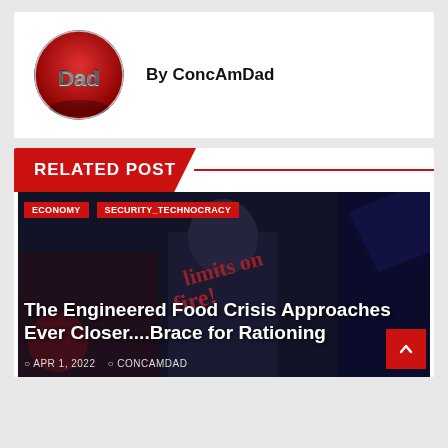[Figure (logo): Circular red logo with 'Dad' text in metallic 3D letters]
By ConcAmDad
RELATED POST
[Figure (photo): Dark background news thumbnail with a person speaking, overlaid red stamped text 'limits on fire!']
ECONOMY   SECURITY_TECHNOCRACY
The Engineered Food Crisis Approaches Ever Closer....Brace for Rationing
APR 1, 2022   CONCAMDAD